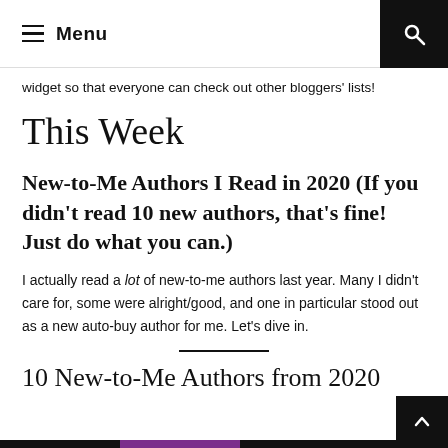Menu
widget so that everyone can check out other bloggers' lists!
This Week
New-to-Me Authors I Read in 2020 (If you didn't read 10 new authors, that's fine! Just do what you can.)
I actually read a lot of new-to-me authors last year. Many I didn't care for, some were alright/good, and one in particular stood out as a new auto-buy author for me. Let's dive in.
10 New-to-Me Authors from 2020